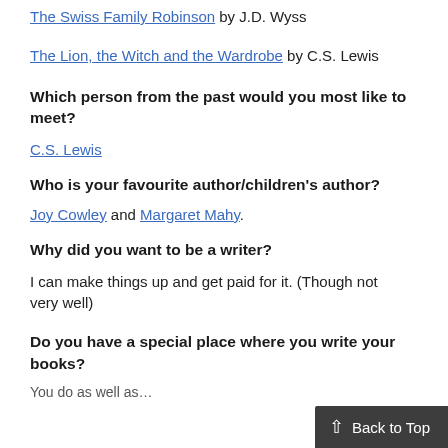The Swiss Family Robinson by J.D. Wyss
The Lion, the Witch and the Wardrobe by C.S. Lewis
Which person from the past would you most like to meet?
C.S. Lewis
Who is your favourite author/children's author?
Joy Cowley and Margaret Mahy.
Why did you want to be a writer?
I can make things up and get paid for it. (Though not very well)
Do you have a special place where you write your books?
You do as well as...